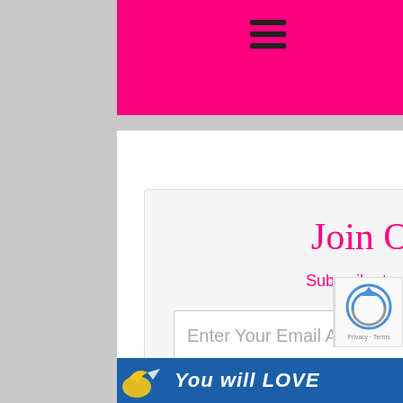[Figure (screenshot): Pink navigation header bar with hamburger menu icon (three horizontal lines)]
Join Our Newsletter
Subscribe to get our latest content by email.
Enter Your Email Address
Subscribe
Powered by ConvertKit
[Figure (logo): reCAPTCHA badge with spinning arrows logo and Privacy - Terms text]
[Figure (screenshot): Blue banner at bottom with text 'You will LOVE' and bird/arrow icon]